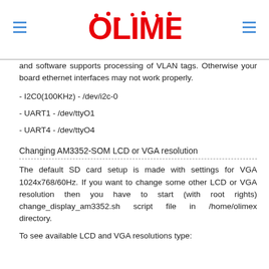OLIMEX logo header
and software supports processing of VLAN tags. Otherwise your board ethernet interfaces may not work properly.
- I2C0(100KHz) - /dev/i2c-0
- UART1 - /dev/ttyO1
- UART4 - /dev/ttyO4
Changing AM3352-SOM LCD or VGA resolution
The default SD card setup is made with settings for VGA 1024x768/60Hz. If you want to change some other LCD or VGA resolution then you have to start (with root rights) change_display_am3352.sh script file in /home/olimex directory.
To see available LCD and VGA resolutions type: